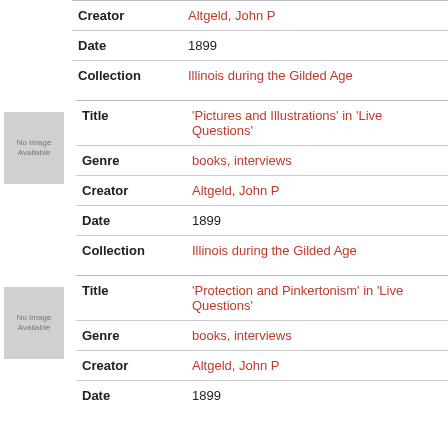| Field | Value |
| --- | --- |
| Creator | Altgeld, John P |
| Date | 1899 |
| Collection | Illinois during the Gilded Age |
| Field | Value |
| --- | --- |
| Title | 'Pictures and Illustrations' in 'Live Questions' |
| Genre | books, interviews |
| Creator | Altgeld, John P |
| Date | 1899 |
| Collection | Illinois during the Gilded Age |
| Field | Value |
| --- | --- |
| Title | 'Protection and Pinkertonism' in 'Live Questions' |
| Genre | books, interviews |
| Creator | Altgeld, John P |
| Date | 1899 |